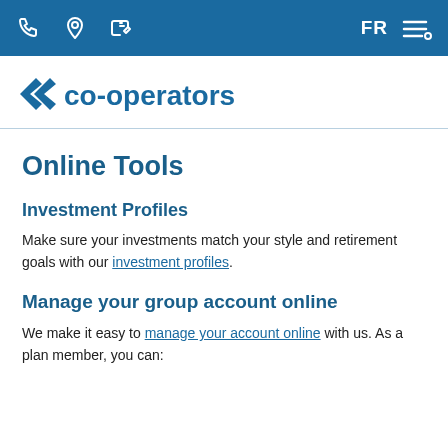FR [nav icons]
[Figure (logo): Co-operators logo: double chevron arrow icon followed by 'co-operators' in blue text]
Online Tools
Investment Profiles
Make sure your investments match your style and retirement goals with our investment profiles.
Manage your group account online
We make it easy to manage your account online with us. As a plan member, you can: